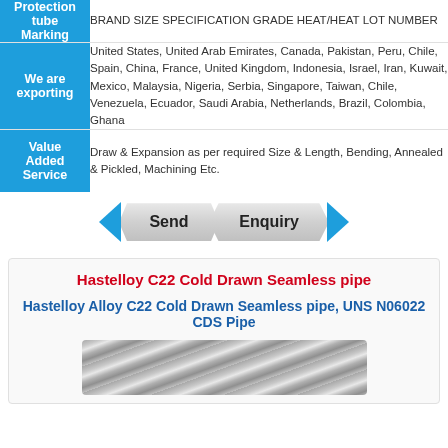| Field | Value |
| --- | --- |
| Protection tube Marking | BRAND SIZE SPECIFICATION GRADE HEAT/HEAT LOT NUMBER |
| We are exporting | United States, United Arab Emirates, Canada, Pakistan, Peru, Chile, Spain, China, France, United Kingdom, Indonesia, Israel, Iran, Kuwait, Mexico, Malaysia, Nigeria, Serbia, Singapore, Taiwan, Chile, Venezuela, Ecuador, Saudi Arabia, Netherlands, Brazil, Colombia, Ghana |
| Value Added Service | Draw & Expansion as per required Size & Length, Bending, Annealed & Pickled, Machining Etc. |
[Figure (infographic): Send Enquiry button with blue arrows on left and right]
Hastelloy C22 Cold Drawn Seamless pipe
Hastelloy Alloy C22 Cold Drawn Seamless pipe, UNS N06022 CDS Pipe
[Figure (photo): Photo of cold drawn seamless pipe showing metallic surface with diagonal grain lines]